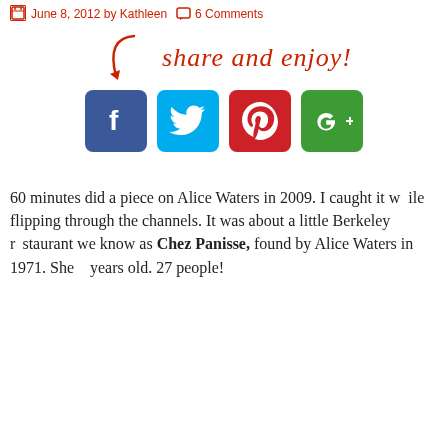June 8, 2012 by Kathleen  6 Comments
[Figure (infographic): Share and enjoy! text with arrow and social media icons: Facebook (blue), Twitter (cyan), Pinterest (red), Google+ (green)]
60 minutes did a piece on Alice Waters in 2009. I caught it while flipping through the channels. It was about a little Berkeley restaurant we know as Chez Panisse, found by Alice Waters in 1971. She... years old. 27 people!